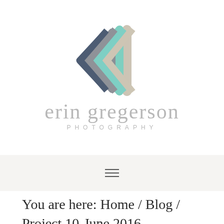[Figure (logo): Erin Gregerson Photography logo: a chevron/arrow mark made of layered colorful stripes (beige, mint/teal, slate blue) followed by the text 'erin gregerson' in large light gray serif and 'PHOTOGRAPHY' in small spaced gray sans-serif caps]
[Figure (other): Hamburger menu icon (three horizontal lines) on a light gray/beige background bar]
You are here: Home / Blog / Project 10-June 2016